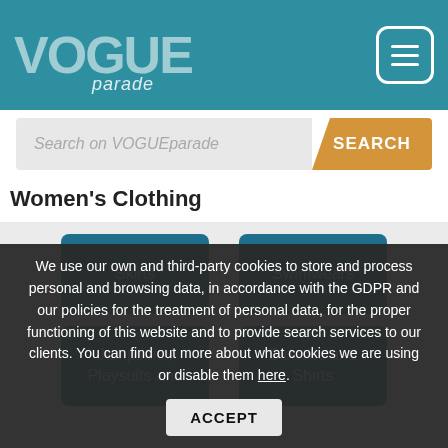[Figure (logo): VOGUEparade logo in teal header with hamburger menu icon]
Search on VOGUEparade
Women's Clothing
Skirts
Swimwears
Jumpsuits, Playsuits and
Blouses and Shirts
We use our own and third-party cookies to store and process personal and browsing data, in accordance with the GDPR and our policies for the treatment of personal data, for the proper functioning of this website and to provide search services to our clients. You can find out more about what cookies we are using or disable them here.